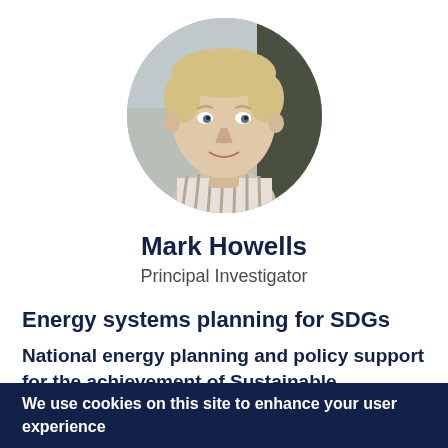[Figure (photo): Circular portrait photo of Mark Howells, a man with short blond hair, smiling, wearing a striped collared shirt, outdoors with blurred tree background.]
Mark Howells
Principal Investigator
Energy systems planning for SDGs
National energy planning and policy support for the achievement of Sustainable Development Goals
We use cookies on this site to enhance your user experience